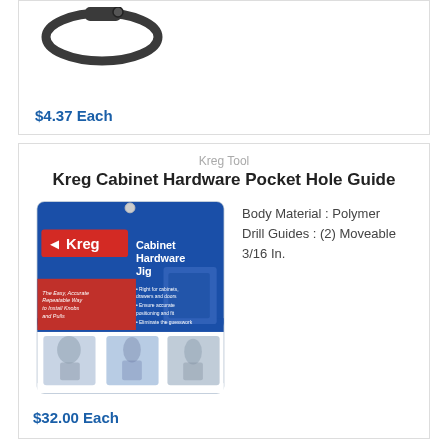[Figure (photo): Partial view of a dark metal strap/clamp tool product from above]
$4.37 Each
Kreg Tool
Kreg Cabinet Hardware Pocket Hole Guide
[Figure (photo): Kreg Cabinet Hardware Jig product box showing the product, branding, and feature text]
Body Material : Polymer Drill Guides : (2) Moveable 3/16 In.
$32.00 Each